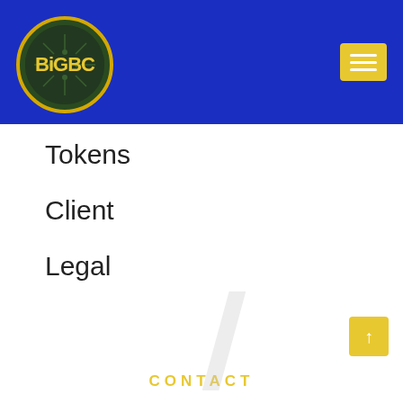[Figure (logo): BiGBC cryptocurrency logo — circular gold-bordered coin on dark green background with yellow 'BiGBC' text, set in blue navigation header with hamburger menu button]
Tokens
Client
Legal
CONTACT